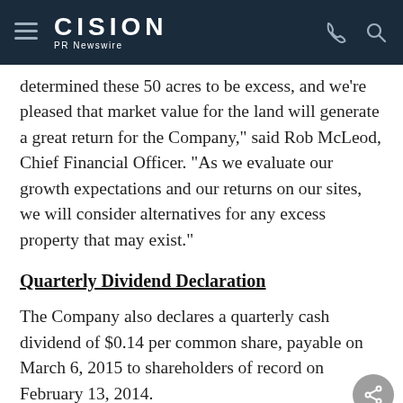CISION PR Newswire
determined these 50 acres to be excess, and we're pleased that market value for the land will generate a great return for the Company," said Rob McLeod, Chief Financial Officer. "As we evaluate our growth expectations and our returns on our sites, we will consider alternatives for any excess property that may exist."
Quarterly Dividend Declaration
The Company also declares a quarterly cash dividend of $0.14 per common share, payable on March 6, 2015 to shareholders of record on February 13, 2014.